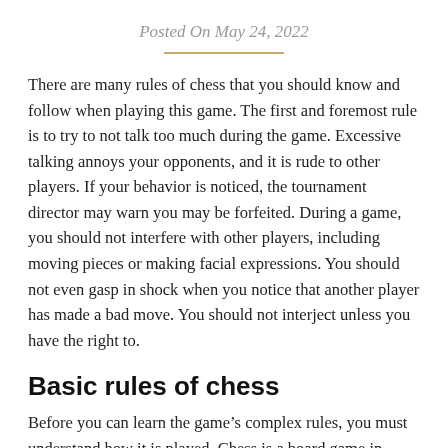Posted On May 24, 2022
There are many rules of chess that you should know and follow when playing this game. The first and foremost rule is to try to not talk too much during the game. Excessive talking annoys your opponents, and it is rude to other players. If your behavior is noticed, the tournament director may warn you may be forfeited. During a game, you should not interfere with other players, including moving pieces or making facial expressions. You should not even gasp in shock when you notice that another player has made a bad move. You should not interject unless you have the right to.
Basic rules of chess
Before you can learn the game’s complex rules, you must understand how it is played. Chess is a board game in which players take turns making moves. The